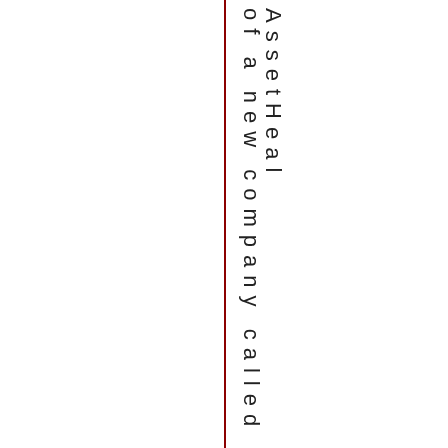of a new company called Asset Heal